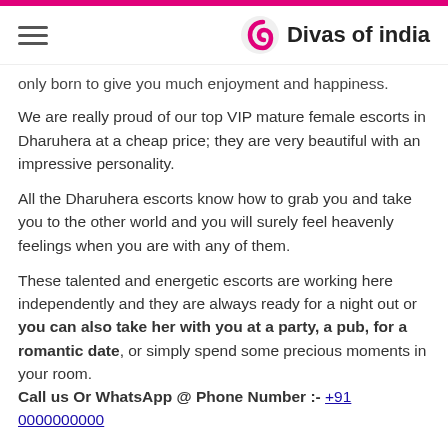Divas of india
only born to give you much enjoyment and happiness.
We are really proud of our top VIP mature female escorts in Dharuhera at a cheap price; they are very beautiful with an impressive personality.
All the Dharuhera escorts know how to grab you and take you to the other world and you will surely feel heavenly feelings when you are with any of them.
These talented and energetic escorts are working here independently and they are always ready for a night out or you can also take her with you at a party, a pub, for a romantic date, or simply spend some precious moments in your room.
Call us Or WhatsApp @ Phone Number :- +91 0000000000
Be Her Favorite And Express Yourself More